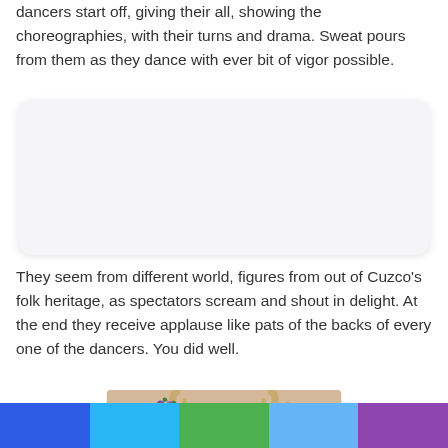dancers start off, giving their all, showing the choreographies, with their turns and drama. Sweat pours from them as they dance with ever bit of vigor possible.
[Figure (photo): A white/blank rectangular placeholder image with rounded corners and light shadow]
They seem from different world, figures from out of Cuzco's folk heritage, as spectators scream and shout in delight. At the end they receive applause like pats of the backs of every one of the dancers. You did well.
[Figure (photo): Close-up photograph of what appears to be deer antlers with small purple flowers or decorations against a blurred beige background]